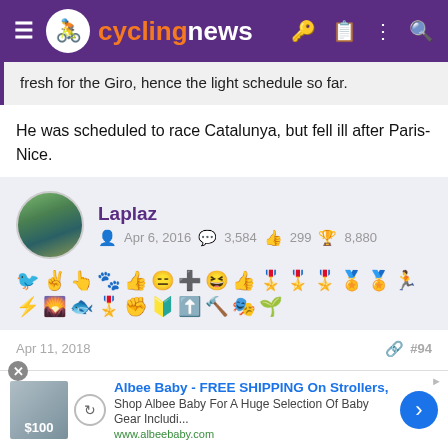cyclingnews
fresh for the Giro, hence the light schedule so far.
He was scheduled to race Catalunya, but fell ill after Paris-Nice.
Laplaz — Apr 6, 2016 — 3,584 — 299 — 8,880
Apr 11, 2018  #94
Re:
[Figure (screenshot): Albee Baby advertisement banner: FREE SHIPPING On Strollers, www.albeebaby.com]